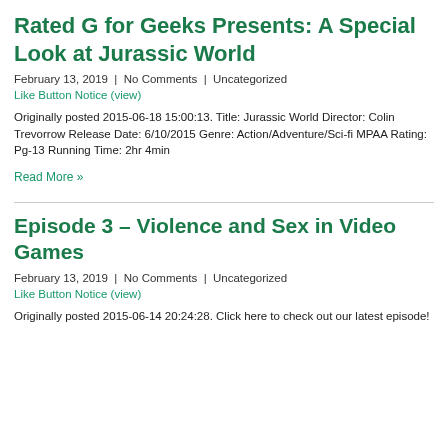Rated G for Geeks Presents: A Special Look at Jurassic World
February 13, 2019  |  No Comments  |  Uncategorized
Like Button Notice (view)
Originally posted 2015-06-18 15:00:13. Title: Jurassic World Director: Colin Trevorrow Release Date: 6/10/2015 Genre: Action/Adventure/Sci-fi MPAA Rating: Pg-13 Running Time: 2hr 4min
Read More »
Episode 3 – Violence and Sex in Video Games
February 13, 2019  |  No Comments  |  Uncategorized
Like Button Notice (view)
Originally posted 2015-06-14 20:24:28. Click here to check out our latest episode!